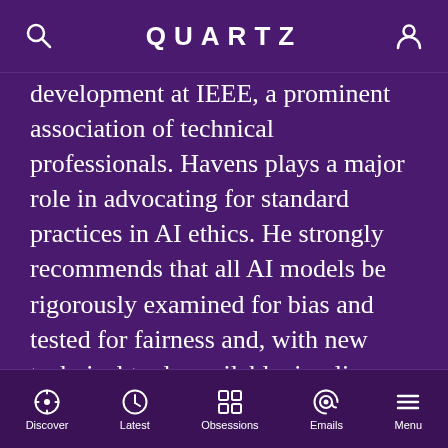QUARTZ
development at IEEE, a prominent association of technical professionals. Havens plays a major role in advocating for standard practices in AI ethics. He strongly recommends that all AI models be rigorously examined for bias and tested for fairness and, with new technical tools available, implies there is no excuse for not doing so.
ADVERTISEMENT
Discover  Latest  Obsessions  Emails  Menu